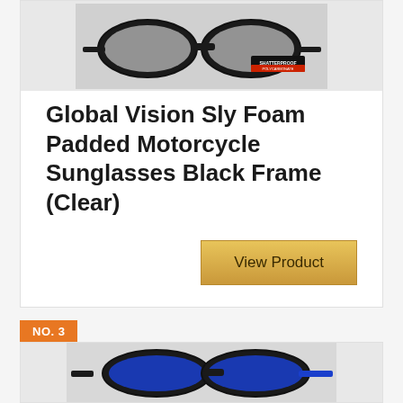[Figure (photo): Close-up photo of black motorcycle sunglasses with SHATTERPROOF POLYCARBONATE label visible on the lens]
Global Vision Sly Foam Padded Motorcycle Sunglasses Black Frame (Clear)
View Product
NO. 3
[Figure (photo): Photo of blue and black motorcycle sunglasses viewed from the side]